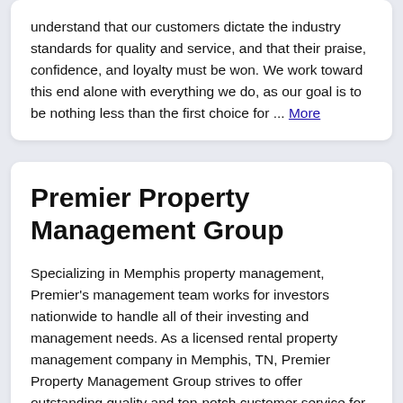understand that our customers dictate the industry standards for quality and service, and that their praise, confidence, and loyalty must be won. We work toward this end alone with everything we do, as our goal is to be nothing less than the first choice for ... More
Premier Property Management Group
Specializing in Memphis property management, Premier's management team works for investors nationwide to handle all of their investing and management needs. As a licensed rental property management company in Memphis, TN, Premier Property Management Group strives to offer outstanding quality and top-notch customer service for your Memphis ...